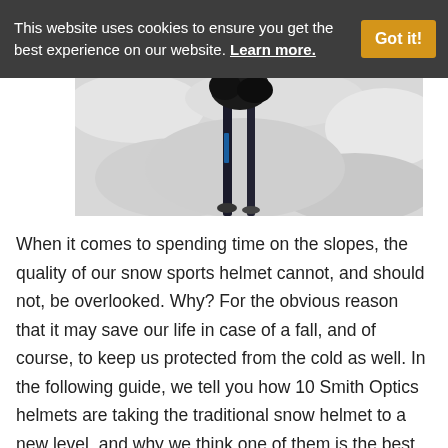This website uses cookies to ensure you get the best experience on our website. Learn more.
[Figure (photo): Partial close-up photo of ski poles and gloves on a snowy slope, black and white/grey tones]
When it comes to spending time on the slopes, the quality of our snow sports helmet cannot, and should not, be overlooked. Why? For the obvious reason that it may save our life in case of a fall, and of course, to keep us protected from the cold as well. In the following guide, we tell you how 10 Smith Optics helmets are taking the traditional snow helmet to a new level, and why we think one of them is the best Smith Optics helmet on the market today.